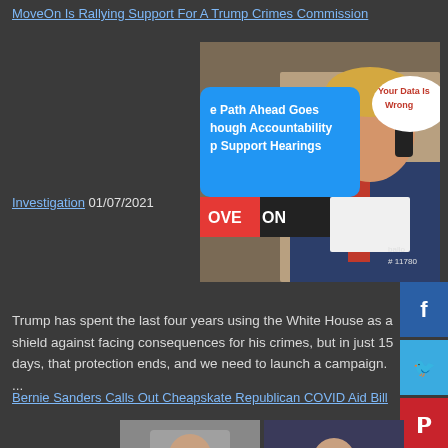MoveOn Is Rallying Support For A Trump Crimes Commission
[Figure (photo): Collage image showing Trump on phone with speech bubbles: 'e Path Ahead Goes hough Accountability p Support Hearings' and 'Your Data Is Wrong', MoveOn logo, and text 'ballo # 11780']
Investigation 01/07/2021
Trump has spent the last four years using the White House as a shield against facing consequences for his crimes, but in just 15 days, that protection ends, and we need to launch a campaign. ...
Bernie Sanders Calls Out Cheapskate Republican COVID Aid Bill
[Figure (photo): Two photos side by side: left shows Senator Ed Markey at podium, right shows Bernie Sanders on Senate floor with text 'INCREASING COVID-19 RELIEF CHECKS TO $2,000 SEN. BERNIE SANDERS Budget Committee Ranking Member']
12/29/2020
d stimulus check e: Ed Markey, Bernie rs threaten to block
Senator Sanders Objec Veto Override Vote, Ur $2K COVID Relief Paym